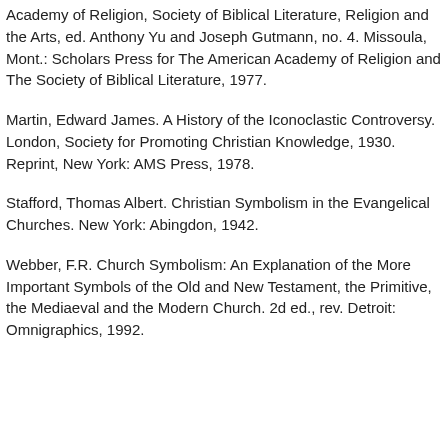Academy of Religion, Society of Biblical Literature, Religion and the Arts, ed. Anthony Yu and Joseph Gutmann, no. 4. Missoula, Mont.: Scholars Press for The American Academy of Religion and The Society of Biblical Literature, 1977.
Martin, Edward James. A History of the Iconoclastic Controversy. London, Society for Promoting Christian Knowledge, 1930. Reprint, New York: AMS Press, 1978.
Stafford, Thomas Albert. Christian Symbolism in the Evangelical Churches. New York: Abingdon, 1942.
Webber, F.R. Church Symbolism: An Explanation of the More Important Symbols of the Old and New Testament, the Primitive, the Mediaeval and the Modern Church. 2d ed., rev. Detroit: Omnigraphics, 1992.